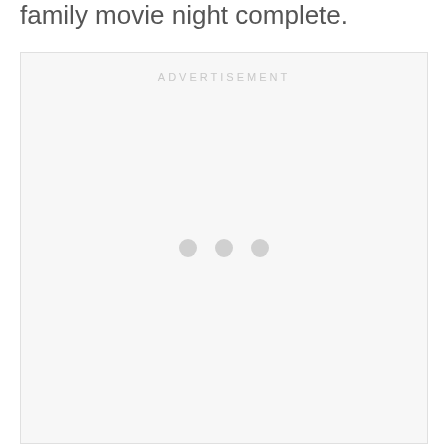family movie night complete.
[Figure (other): Advertisement placeholder box with 'ADVERTISEMENT' label at top center and three grey dots in the middle]